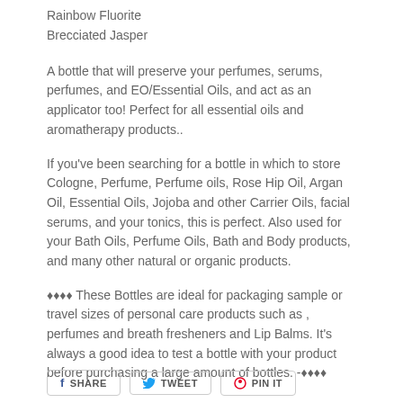Rainbow Fluorite
Brecciated Jasper
A bottle that will preserve your perfumes, serums, perfumes, and EO/Essential Oils, and act as an applicator too! Perfect for all essential oils and aromatherapy products..
If you've been searching for a bottle in which to store Cologne, Perfume, Perfume oils, Rose Hip Oil, Argan Oil, Essential Oils, Jojoba and other Carrier Oils, facial serums, and your tonics, this is perfect. Also used for your Bath Oils, Perfume Oils, Bath and Body products, and many other natural or organic products.
♦♦♦♦ These Bottles are ideal for packaging sample or travel sizes of personal care products such as , perfumes and breath fresheners and Lip Balms. It's always a good idea to test a bottle with your product before purchasing a large amount of bottles. -♦♦♦♦
[Figure (other): Social sharing buttons: SHARE (Facebook), TWEET (Twitter), PIN IT (Pinterest)]